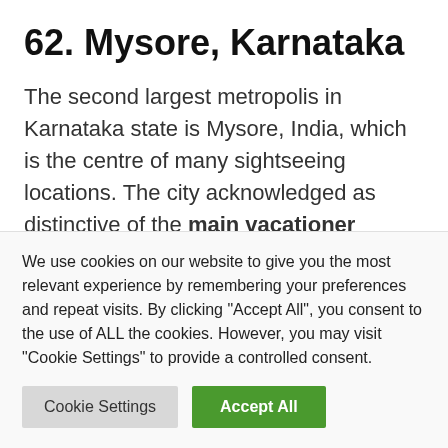62. Mysore, Karnataka
The second largest metropolis in Karnataka state is Mysore, India, which is the centre of many sightseeing locations. The city acknowledged as distinctive of the main vacationer locations of India as a consequence of its wealthy cultural heritage and historic significance. Mysore is famend as The Metropolis of Palaces and is among the third largest conurbation within the state of
We use cookies on our website to give you the most relevant experience by remembering your preferences and repeat visits. By clicking "Accept All", you consent to the use of ALL the cookies. However, you may visit "Cookie Settings" to provide a controlled consent.
Cookie Settings | Accept All